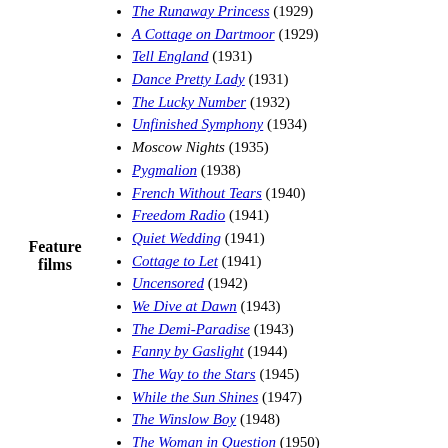The Runaway Princess (1929)
A Cottage on Dartmoor (1929)
Tell England (1931)
Dance Pretty Lady (1931)
The Lucky Number (1932)
Unfinished Symphony (1934)
Moscow Nights (1935)
Pygmalion (1938)
French Without Tears (1940)
Freedom Radio (1941)
Quiet Wedding (1941)
Cottage to Let (1941)
Uncensored (1942)
We Dive at Dawn (1943)
The Demi-Paradise (1943)
Fanny by Gaslight (1944)
The Way to the Stars (1945)
While the Sun Shines (1947)
The Winslow Boy (1948)
The Woman in Question (1950)
The Browning Version (1951)
The Importance of Being Earnest (1952)
The Net (1953)
The Final Test (1953)
The Young Lovers (1954)
Carrington V.C. (1954)
Feature films